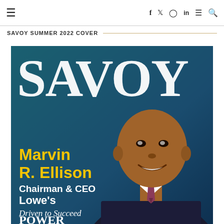≡  f  𝕏  ⊚  in  ≡  🔍
SAVOY SUMMER 2022 COVER
[Figure (photo): Savoy Magazine Summer 2022 cover featuring Marvin R. Ellison, Chairman & CEO of Lowe's, with tagline 'Driven to Succeed' and 'POWER 300' text. Blue background with large white SAVOY logo at top.]